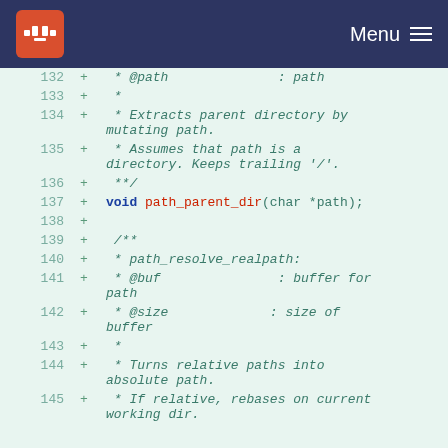Menu
[Figure (screenshot): Code diff viewer showing lines 132-145 of a C header file with path utility function documentation and declaration. Lines are prefixed with '+' indicating additions. Line 137 shows: void path_parent_dir(char *path); Line 139-142 show Javadoc comment for path_resolve_realpath function.]